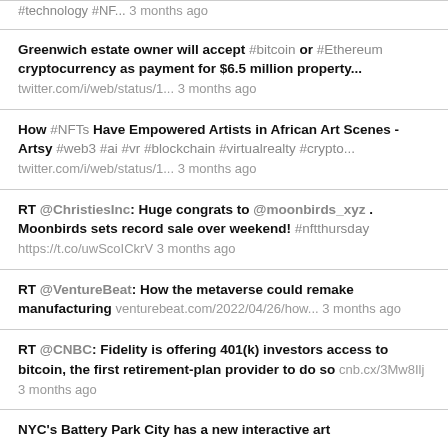#technology #NF... 3 months ago
Greenwich estate owner will accept #bitcoin or #Ethereum cryptocurrency as payment for $6.5 million property... twitter.com/i/web/status/1... 3 months ago
How #NFTs Have Empowered Artists in African Art Scenes - Artsy #web3 #ai #vr #blockchain #virtualrealty #crypto... twitter.com/i/web/status/1... 3 months ago
RT @ChristiesInc: Huge congrats to @moonbirds_xyz . Moonbirds sets record sale over weekend! #nftthursday https://t.co/uwScoICkrV 3 months ago
RT @VentureBeat: How the metaverse could remake manufacturing venturebeat.com/2022/04/26/how... 3 months ago
RT @CNBC: Fidelity is offering 401(k) investors access to bitcoin, the first retirement-plan provider to do so cnb.cx/3Mw8Ilj 3 months ago
NYC's Battery Park City has a new interactive art